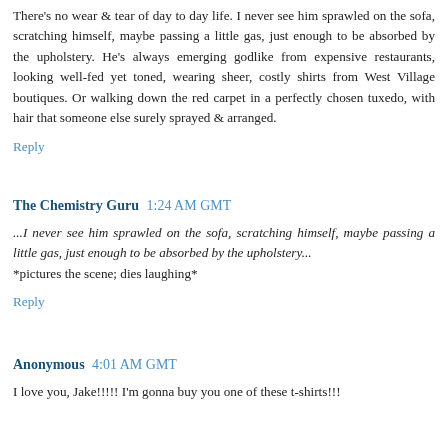There's no wear & tear of day to day life. I never see him sprawled on the sofa, scratching himself, maybe passing a little gas, just enough to be absorbed by the upholstery. He's always emerging godlike from expensive restaurants, looking well-fed yet toned, wearing sheer, costly shirts from West Village boutiques. Or walking down the red carpet in a perfectly chosen tuxedo, with hair that someone else surely sprayed & arranged.
Reply
The Chemistry Guru  1:24 AM GMT
...I never see him sprawled on the sofa, scratching himself, maybe passing a little gas, just enough to be absorbed by the upholstery...
*pictures the scene; dies laughing*
Reply
Anonymous  4:01 AM GMT
I love you, Jake!!!!! I'm gonna buy you one of these t-shirts!!!